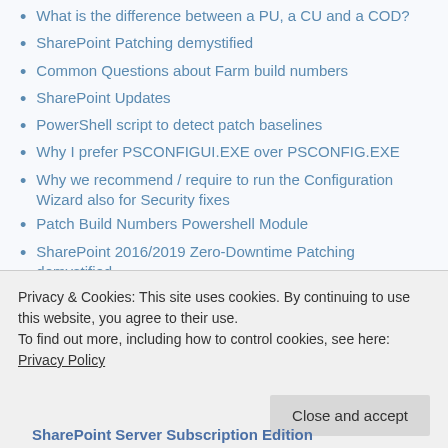What is the difference between a PU, a CU and a COD?
SharePoint Patching demystified
Common Questions about Farm build numbers
SharePoint Updates
PowerShell script to detect patch baselines
Why I prefer PSCONFIGUI.EXE over PSCONFIG.EXE
Why we recommend / require to run the Configuration Wizard also for Security fixes
Patch Build Numbers Powershell Module
SharePoint 2016/2019 Zero-Downtime Patching demystified
SharePoint Side-by-side patching explained
SharePoint Patching and Get-SPProduct -local
SharePoint does not have a build version. Full Stop.
Privacy & Cookies: This site uses cookies. By continuing to use this website, you agree to their use.
To find out more, including how to control cookies, see here: Privacy Policy
Close and accept
SharePoint Server Subscription Edition